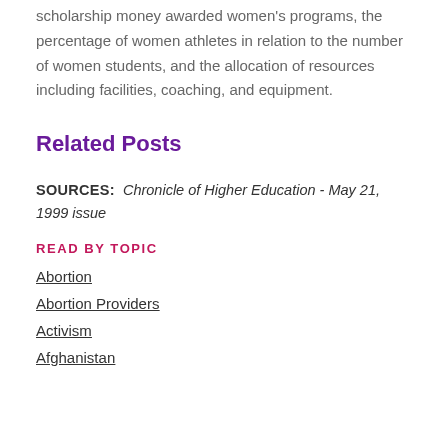scholarship money awarded women's programs, the percentage of women athletes in relation to the number of women students, and the allocation of resources including facilities, coaching, and equipment.
Related Posts
SOURCES:  Chronicle of Higher Education - May 21, 1999 issue
READ BY TOPIC
Abortion
Abortion Providers
Activism
Afghanistan